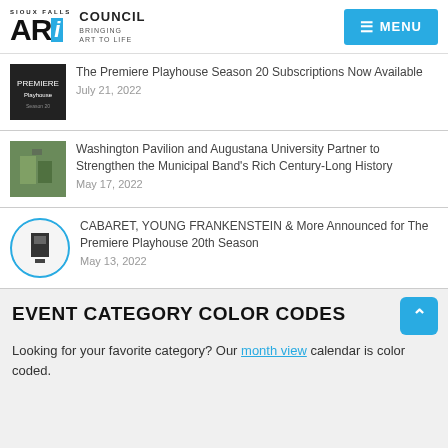Sioux Falls Art Council — MENU
The Premiere Playhouse Season 20 Subscriptions Now Available — July 21, 2022
Washington Pavilion and Augustana University Partner to Strengthen the Municipal Band's Rich Century-Long History — May 17, 2022
CABARET, YOUNG FRANKENSTEIN & More Announced for The Premiere Playhouse 20th Season — May 13, 2022
EVENT CATEGORY COLOR CODES
Looking for your favorite category? Our month view calendar is color coded.